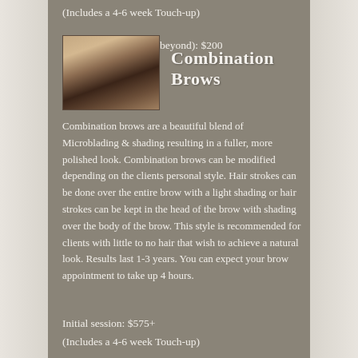(Includes a 4-6 week Touch-up)
Touchup (6 months & beyond): $200
[Figure (photo): Close-up photo of a woman having her eyebrows microbladed by a gloved technician]
Combination Brows
Combination brows are a beautiful blend of Microblading & shading resulting in a fuller, more polished look. Combination brows can be modified depending on the clients personal style. Hair strokes can be done over the entire brow with a light shading or hair strokes can be kept in the head of the brow with shading over the body of the brow. This style is recommended for clients with little to no hair that wish to achieve a natural look. Results last 1-3 years. You can expect your brow appointment to take up 4 hours.
Initial session: $575+
(Includes a 4-6 week Touch-up)